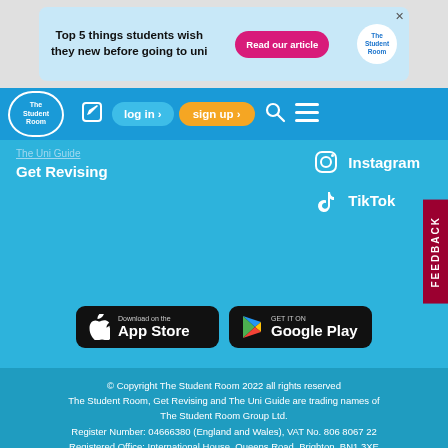[Figure (screenshot): Advertisement banner: 'Top 5 things students wish they new before going to uni' with a pink 'Read our article' button and The Student Room logo]
The Student Room navigation bar with logo, log in and sign up buttons
The Uni Guide
Get Revising
Instagram
TikTok
[Figure (screenshot): Download on the App Store button]
[Figure (screenshot): GET IT ON Google Play button]
FEEDBACK
© Copyright The Student Room 2022 all rights reserved
The Student Room, Get Revising and The Uni Guide are trading names of The Student Room Group Ltd.
Register Number: 04666380 (England and Wales), VAT No. 806 8067 22
Registered Office: International House, Queens Road, Brighton, BN1 3XE